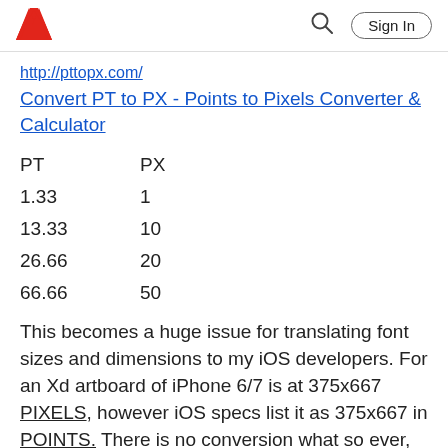Adobe | Sign In
http://pttopx.com/
Convert PT to PX - Points to Pixels Converter & Calculator
| PT | PX |
| --- | --- |
| 1.33 | 1 |
| 13.33 | 10 |
| 26.66 | 20 |
| 66.66 | 50 |
This becomes a huge issue for translating font sizes and dimensions to my iOS developers. For an Xd artboard of iPhone 6/7 is at 375x667 PIXELS, however iOS specs list it as 375x667 in POINTS. There is no conversion what so ever, but uses the same number.